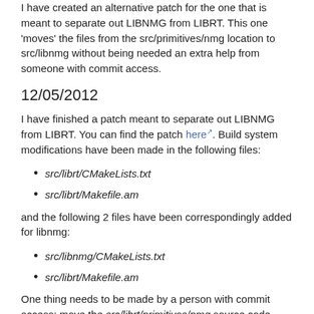I have created an alternative patch for the one that is meant to separate out LIBNMG from LIBRT. This one 'moves' the files from the src/primitives/nmg location to src/libnmg without being needed an extra help from someone with commit access.
12/05/2012
I have finished a patch meant to separate out LIBNMG from LIBRT. You can find the patch here. Build system modifications have been made in the following files:
src/librt/CMakeLists.txt
src/librt/Makefile.am
and the following 2 files have been correspondingly added for libnmg:
src/libnmg/CMakeLists.txt
src/librt/Makefile.am
One thing needs to be made by a person with commit access: move the src/librt/primitives/nmg source code